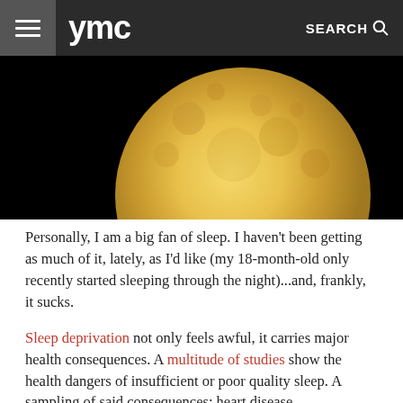ymc  SEARCH
[Figure (photo): Close-up of a large golden full moon against a black night sky, partially cropped showing the upper half of the moon]
Personally, I am a big fan of sleep. I haven't been getting as much of it, lately, as I'd like (my 18-month-old only recently started sleeping through the night)...and, frankly, it sucks.
Sleep deprivation not only feels awful, it carries major health consequences. A multitude of studies show the health dangers of insufficient or poor quality sleep. A sampling of said consequences: heart disease, hypertension, depression, and diabetes.
Also, sleep deprivation: not your best look. A study recently showed that people who had a crappy night's sleep the night